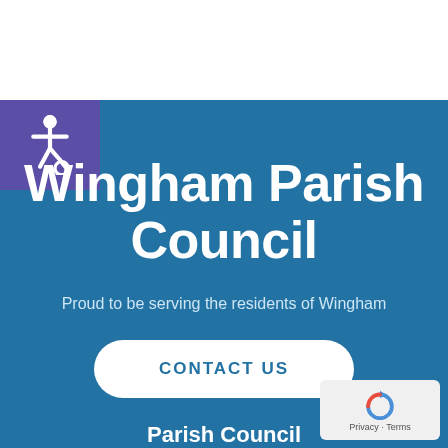[Figure (logo): Wheelchair accessibility icon in white on purple square background]
Wingham Parish Council
Proud to be serving the residents of Wingham
CONTACT US
Parish Council
Meetings
Events
News
[Figure (logo): Google reCAPTCHA badge with Privacy and Terms links]